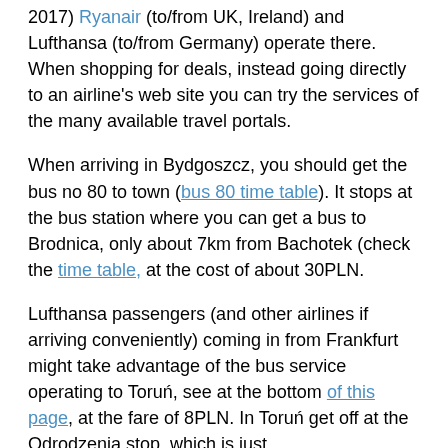2017) Ryanair (to/from UK, Ireland) and Lufthansa (to/from Germany) operate there. When shopping for deals, instead going directly to an airline's web site you can try the services of the many available travel portals.
When arriving in Bydgoszcz, you should get the bus no 80 to town (bus 80 time table). It stops at the bus station where you can get a bus to Brodnica, only about 7km from Bachotek (check the time table, at the cost of about 30PLN.
Lufthansa passengers (and other airlines if arriving conveniently) coming in from Frankfurt might take advantage of the bus service operating to Toruń, see at the bottom of this page, at the fare of 8PLN. In Toruń get off at the Odrodzenia stop, which is just